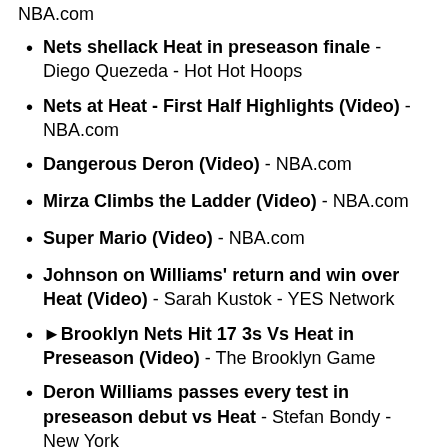NBA.com
Nets shellack Heat in preseason finale - Diego Quezeda - Hot Hot Hoops
Nets at Heat - First Half Highlights (Video) - NBA.com
Dangerous Deron (Video) - NBA.com
Mirza Climbs the Ladder (Video) - NBA.com
Super Mario (Video) - NBA.com
Johnson on Williams' return and win over Heat (Video) - Sarah Kustok - YES Network
▶Brooklyn Nets Hit 17 3s Vs Heat in Preseason (Video) - The Brooklyn Game
Deron Williams passes every test in preseason debut vs Heat - Stefan Bondy - New York